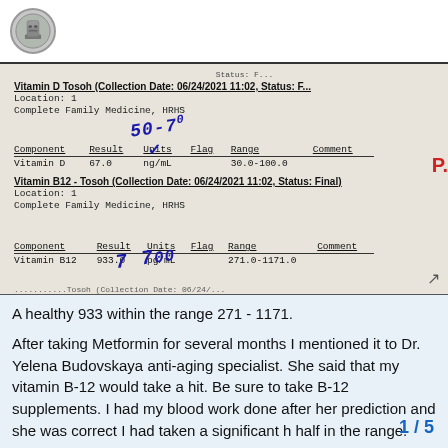[Figure (screenshot): Social media profile avatar - circular image of a stone statue figure]
[Figure (photo): Lab report showing Vitamin D Tosoh and Vitamin B12 Tosoh test results. Vitamin D: 67.0 ng/mL, Range 30.0-100.0. Vitamin B12: 933.0 pg/mL, Range 271.0-1171.0. Handwritten annotations show '50-70' near Vitamin D result and '7 700' near Vitamin B12 result.]
A healthy 933 within the range 271 - 1171.

After taking Metformin for several months I mentioned it to Dr. Yelena Budovskaya anti-aging specialist. She said that my vitamin B-12 would take a hit. Be sure to take B-12 supplements. I had my blood work done after her prediction and she was correct I had taken a significant h half in the range.
1 / 5